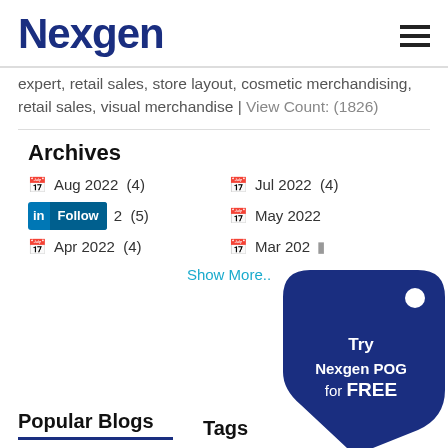Nexgen
expert, retail sales, store layout, cosmetic merchandising, retail sales, visual merchandise | View Count: (1826)
Archives
Aug 2022 (4)
Jul 2022 (4)
Jun 2022 (5)
May 2022
Apr 2022 (4)
Mar 2022
Show More..
[Figure (illustration): Dark blue price tag shape with hole, text: Try Nexgen POG for FREE]
Popular Blogs
Tags